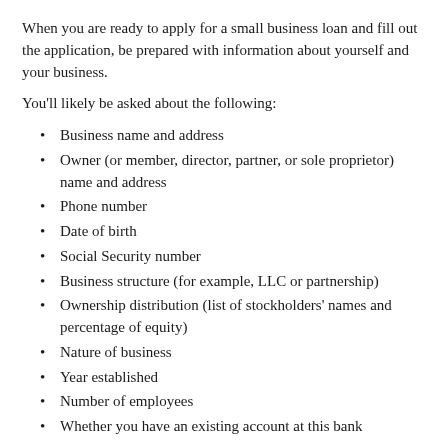When you are ready to apply for a small business loan and fill out the application, be prepared with information about yourself and your business.
You'll likely be asked about the following:
Business name and address
Owner (or member, director, partner, or sole proprietor) name and address
Phone number
Date of birth
Social Security number
Business structure (for example, LLC or partnership)
Ownership distribution (list of stockholders' names and percentage of equity)
Nature of business
Year established
Number of employees
Whether you have an existing account at this bank
You'll also likely be asked financial information about your business, such as:
Type of loan requested (for example, line of credit, term loan, or real estate)